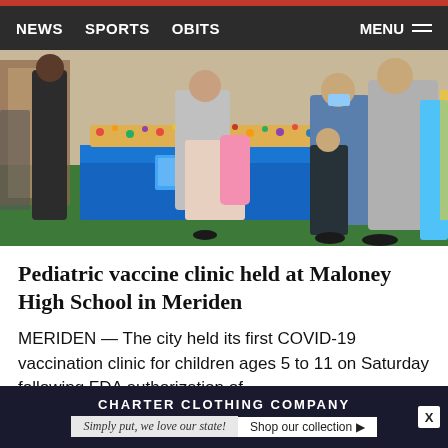NEWS  SPORTS  OBITS  MENU
[Figure (photo): People standing at a table with a blue tablecloth covered in colorful items, inside a school building with green flooring. Adults and children are gathered around the table at a pediatric vaccine clinic.]
Pediatric vaccine clinic held at Maloney High School in Meriden
MERIDEN — The city held its first COVID-19 vaccination clinic for children ages 5 to 11 on Saturday following FDA authorization of ...
[Figure (infographic): Advertisement banner for Charter Clothing Company. Text: CHARTER CLOTHING COMPANY. Simply put, we love our state! Shop our collection ▶]